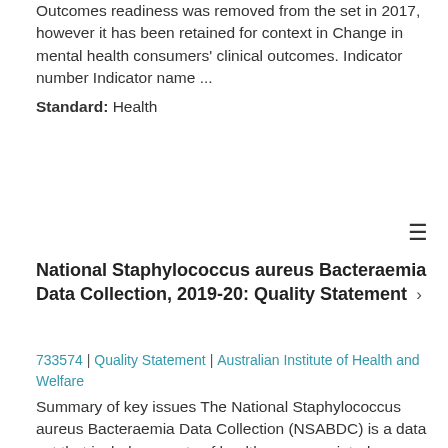Outcomes readiness was removed from the set in 2017, however it has been retained for context in Change in mental health consumers' clinical outcomes. Indicator number Indicator name ...
Standard: Health
National Staphylococcus aureus Bacteraemia Data Collection, 2019-20: Quality Statement ›
733574 | Quality Statement | Australian Institute of Health and Welfare
Summary of key issues The National Staphylococcus aureus Bacteraemia Data Collection (NSABDC) is a data set that includes counts of healthcare associated cases of Staphylococcus aureus bacteraemia (SAB) for each